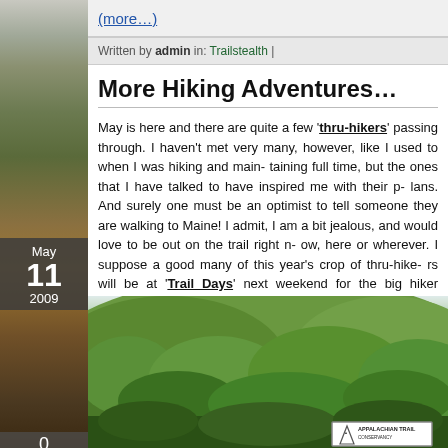(more...)
Written by admin in: Trailstealth |
More Hiking Adventures…
May is here and there are quite a few 'thru-hikers' passing through. I haven't met very many, however, like I used to when I was hiking and maintaining full time, but the ones that I have talked to have inspired me with their plans. And surely one must be an optimist to tell someone they are walking to Maine! I admit, I am a bit jealous, and would love to be out on the trail right now, here or wherever. I suppose a good many of this year's crop of thru-hikers will be at 'Trail Days' next weekend for the big hiker festival in Damascus, Virginia.
[Figure (photo): Forested mountain hillside covered in green trees, with an Appalachian Trail sign visible at the bottom right]